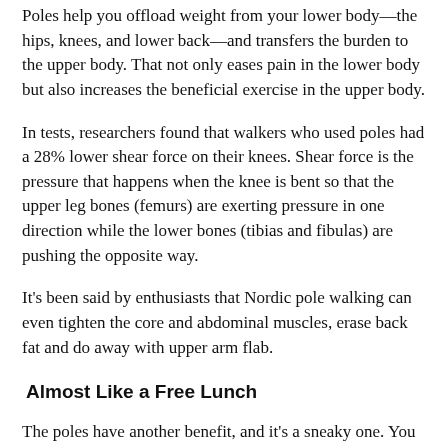Poles help you offload weight from your lower body—the hips, knees, and lower back—and transfers the burden to the upper body. That not only eases pain in the lower body but also increases the beneficial exercise in the upper body.
In tests, researchers found that walkers who used poles had a 28% lower shear force on their knees. Shear force is the pressure that happens when the knee is bent so that the upper leg bones (femurs) are exerting pressure in one direction while the lower bones (tibias and fibulas) are pushing the opposite way.
It's been said by enthusiasts that Nordic pole walking can even tighten the core and abdominal muscles, erase back fat and do away with upper arm flab.
Almost Like a Free Lunch
The poles have another benefit, and it's a sneaky one. You could think you're not working so hard.
Studies show that once walkers walk with poles…